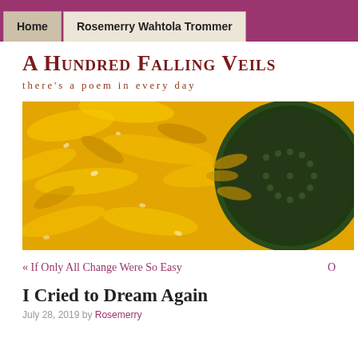Home | Rosemerry Wahtola Trommer
A Hundred Falling Veils
there's a poem in every day
[Figure (photo): Close-up photograph of a sunflower with bright yellow petals and a dark green center, with water droplets visible on the petals.]
« If Only All Change Were So Easy
I Cried to Dream Again
July 28, 2019 by Rosemerry